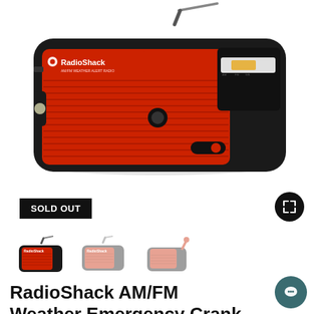[Figure (photo): RadioShack AM/FM Weather Emergency Crank Radio, red and black, shown at an angle with antenna extended, on white background. SOLD OUT badge in bottom-left. Expand icon in bottom-right.]
[Figure (photo): Three thumbnail images of the RadioShack radio from different angles. Third thumbnail shows a hand-crank feature and has a chat bubble overlay saying 'Hi. Need any help?']
RadioShack AM/FM Weather Emergency Crank Radio